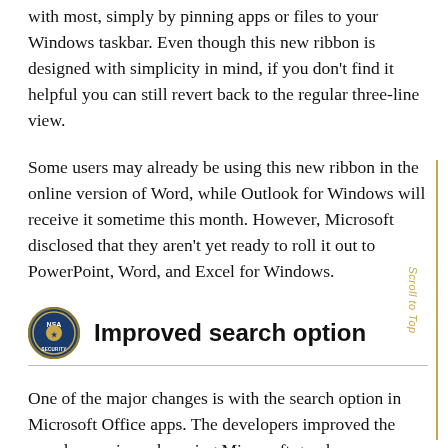with most, simply by pinning apps or files to your Windows taskbar. Even though this new ribbon is designed with simplicity in mind, if you don't find it helpful you can still revert back to the regular three-line view.
Some users may already be using this new ribbon in the online version of Word, while Outlook for Windows will receive it sometime this month. However, Microsoft disclosed that they aren't yet ready to roll it out to PowerPoint, Word, and Excel for Windows.
Improved search option
One of the major changes is with the search option in Microsoft Office apps. The developers improved the search experience by using Microsoft graph, so users can now see search recommendations when they